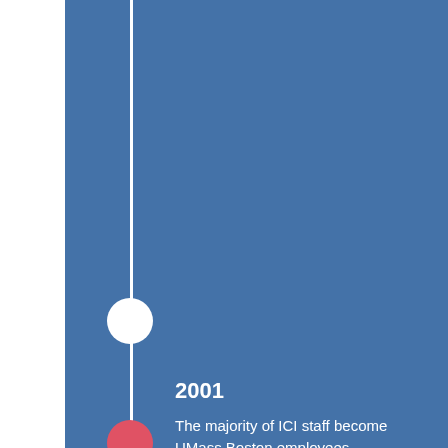[Figure (infographic): Timeline infographic with blue background, white vertical line, white circle node and partial red circle node at bottom. Year 2001 milestone for ICI at UMass Boston.]
2001
The majority of ICI staff become UMass Boston employees.